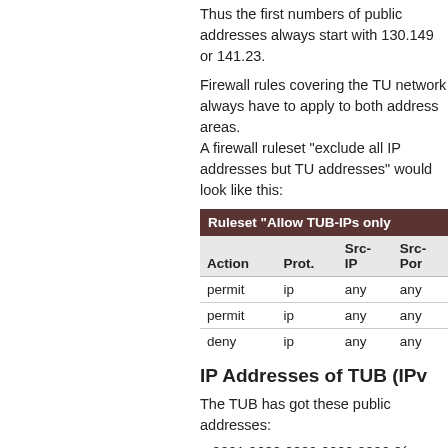Thus the first numbers of public addresses always start with 130.149 or 141.23.
Firewall rules covering the TU network always have to apply to both address areas.
A firewall ruleset "exclude all IP addresses but TU addresses" would look like this:
| Action | Prot. | Src-IP | Src-Port |
| --- | --- | --- | --- |
| permit | ip | any | any |
| permit | ip | any | any |
| deny | ip | any | any |
IP Addresses of TUB (IPv
The TUB has got these public addresses:
2001:0638:0809:0000:0000:0(